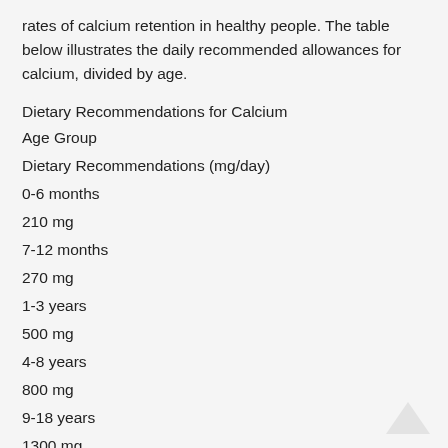rates of calcium retention in healthy people. The table below illustrates the daily recommended allowances for calcium, divided by age.
| Age Group | Dietary Recommendations (mg/day) |
| --- | --- |
| 0-6 months | 210 mg |
| 7-12 months | 270 mg |
| 1-3 years | 500 mg |
| 4-8 years | 800 mg |
| 9-18 years | 1300 mg |
| 19-50 years | 1000 mg |